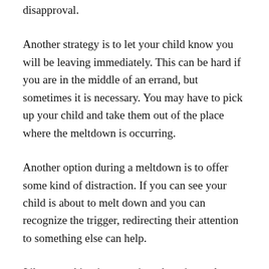disapproval.
Another strategy is to let your child know you will be leaving immediately. This can be hard if you are in the middle of an errand, but sometimes it is necessary. You may have to pick up your child and take them out of the place where the meltdown is occurring.
Another option during a meltdown is to offer some kind of distraction. If you can see your child is about to melt down and you can recognize the trigger, redirecting their attention to something else can help.
Like everything in parenting, there is no clear cut answer. Every child is different. Every family is different. And every situation is different. The same